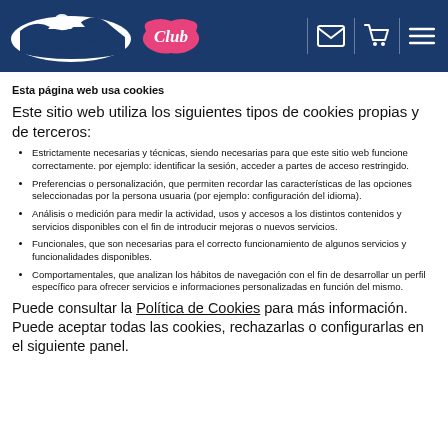Central Lechera Asturiana — Club — navigation icons
Esta página web usa cookies
Este sitio web utiliza los siguientes tipos de cookies propias y de terceros:
Estrictamente necesarias y técnicas, siendo necesarias para que este sitio web funcione correctamente. por ejemplo: identificar la sesión, acceder a partes de acceso restringido.
Preferencias o personalización, que permiten recordar las características de las opciones seleccionadas por la persona usuaria (por ejemplo: configuración del idioma).
Análisis o medición para medir la actividad, usos y accesos a los distintos contenidos y servicios disponibles con el fin de introducir mejoras o nuevos servicios.
Funcionales, que son necesarias para el correcto funcionamiento de algunos servicios y funcionalidades disponibles.
Comportamentales, que analizan los hábitos de navegación con el fin de desarrollar un perfil específico para ofrecer servicios e informaciones personalizadas en función del mismo.
Puede consultar la Política de Cookies para más información. Puede aceptar todas las cookies, rechazarlas o configurarlas en el siguiente panel.